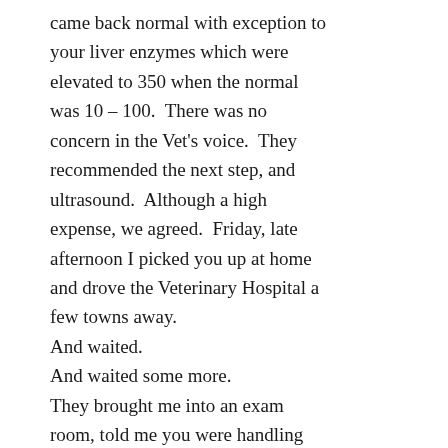came back normal with exception to your liver enzymes which were elevated to 350 when the normal was 10 – 100.  There was no concern in the Vet's voice.  They recommended the next step, and ultrasound.  Although a high expense, we agreed.  Friday, late afternoon I picked you up at home and drove the Veterinary Hospital a few towns away.
And waited.
And waited some more.
They brought me into an exam room, told me you were handling things well, and then I waited some more.
When the Vet returned, I could tell something was wrong but I couldn't tell just how grim the results would be.  There was this look of sincere sadness.  She